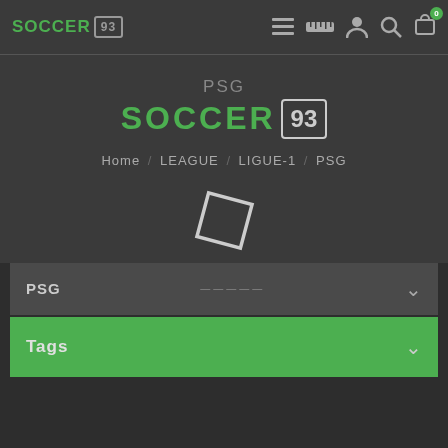SOCCER 93 — navigation header with menu, ruler, user, search, cart icons
PSG SOCCER 93
Home / LEAGUE / LIGUE-1 / PSG
[Figure (logo): Rotated square outline icon (PSG placeholder logo)]
PSG (dropdown selector)
Tags (dropdown)